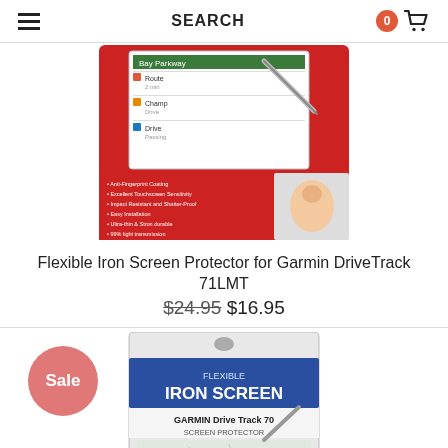SEARCH
[Figure (photo): Product photo of Flexible Iron Screen Protector for Garmin DriveTrack 71LMT in red packaging showing device screen with navigation menu and a hand touching the screen.]
Flexible Iron Screen Protector for Garmin DriveTrack 71LMT
$24.95 $16.95
[Figure (photo): Product photo of Flexible Iron Screen for Garmin Drive Track 70 screen protector in black/white packaging showing navigation map on device screen. Sale badge visible.]